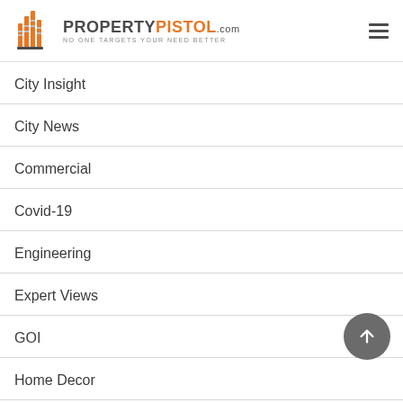PROPERTYPISTOL.com — NO ONE TARGETS YOUR NEED BETTER
City Insight
City News
Commercial
Covid-19
Engineering
Expert Views
GOI
Home Decor